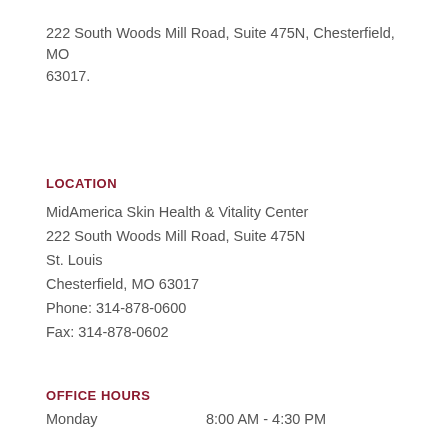222 South Woods Mill Road, Suite 475N, Chesterfield, MO 63017.
LOCATION
MidAmerica Skin Health & Vitality Center
222 South Woods Mill Road, Suite 475N
St. Louis
Chesterfield, MO 63017
Phone: 314-878-0600
Fax: 314-878-0602
OFFICE HOURS
Monday    8:00 AM - 4:30 PM